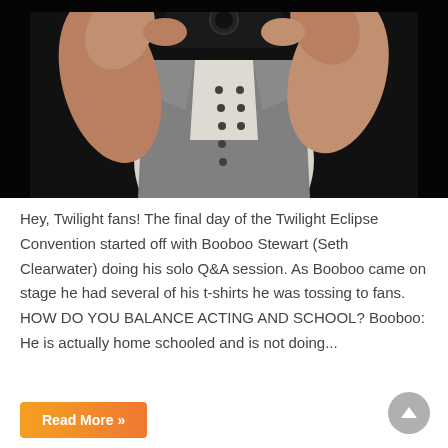[Figure (photo): Photo of a person wearing a grey vest over a white t-shirt, holding a camera up to their face, against a dark/black background. Arms and torso visible, face obscured by camera.]
Hey, Twilight fans! The final day of the Twilight Eclipse Convention started off with Booboo Stewart (Seth Clearwater) doing his solo Q&A session. As Booboo came on stage he had several of his t-shirts he was tossing to fans. HOW DO YOU BALANCE ACTING AND SCHOOL? Booboo: He is actually home schooled and is not doing...
Read More »